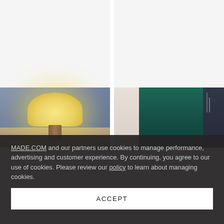[Figure (photo): Partial view of a room interior with a lamp with warm yellow shade on the left, and a dark teal/green wardrobe or cabinet on the right. The top portion is white/blank. The bottom portion shows the room scene.]
MADE.COM and our partners use cookies to manage performance, advertising and customer experience. By continuing, you agree to our use of cookies. Please review our policy to learn about managing cookies.
ACCEPT